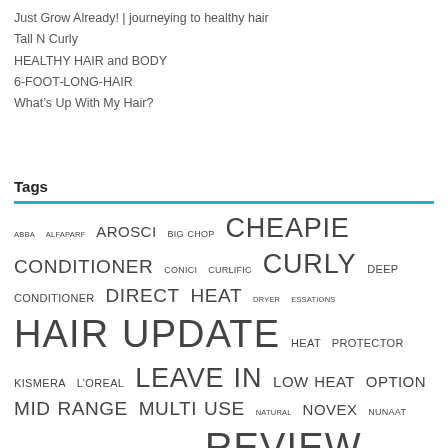Just Grow Already! | journeying to healthy hair
Tall N Curly
HEALTHY HAIR and BODY
6-FOOT-LONG-HAIR
What’s Up With My Hair?
Tags
ABBA ALFAPARF AROSCI BIG CHOP CHEAPIE CONDITIONER CONICI CURLIFIC CURLY DEEP CONDITIONER DIRECT HEAT DRYER ESSATIONS HAIR UPDATE HEAT PROTECTOR KISMERA L’OREAL LEAVE IN LOW HEAT OPTION MID RANGE MULTI USE NATURAL NOVEX NUNAAT PROGRESS PROGRESS PUDDING QOD REVIEW ROLLERSET ROLLERSETTING RUSK SALON SHAMPOO SMOOTHING TREATMENT SPLURGE STRAIGHTENING TECHNIQUE TIPS TOOLS